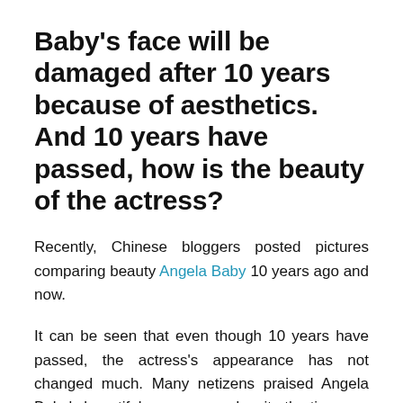Baby's face will be damaged after 10 years because of aesthetics. And 10 years have passed, how is the beauty of the actress?
Recently, Chinese bloggers posted pictures comparing beauty Angela Baby 10 years ago and now.
It can be seen that even though 10 years have passed, the actress's appearance has not changed much. Many netizens praised Angela Baby's beautiful appearance despite the time.